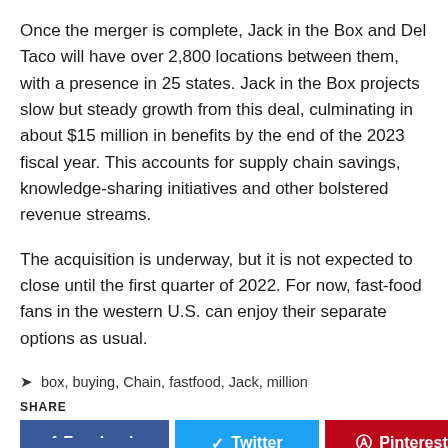Once the merger is complete, Jack in the Box and Del Taco will have over 2,800 locations between them, with a presence in 25 states. Jack in the Box projects slow but steady growth from this deal, culminating in about $15 million in benefits by the end of the 2023 fiscal year. This accounts for supply chain savings, knowledge-sharing initiatives and other bolstered revenue streams.
The acquisition is underway, but it is not expected to close until the first quarter of 2022. For now, fast-food fans in the western U.S. can enjoy their separate options as usual.
box, buying, Chain, fastfood, Jack, million
SHARE